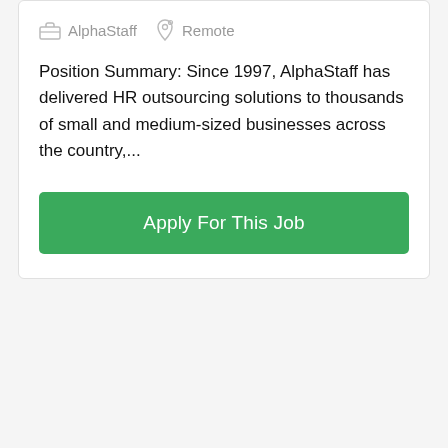AlphaStaff   Remote
Position Summary: Since 1997, AlphaStaff has delivered HR outsourcing solutions to thousands of small and medium-sized businesses across the country,...
Apply For This Job